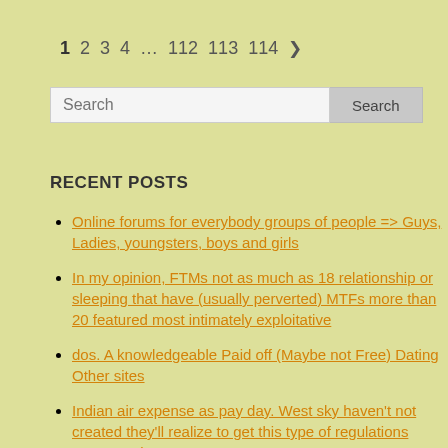1  2  3  4  …  112  113  114  »
Search [input] Search [button]
RECENT POSTS
Online forums for everybody groups of people => Guys, Ladies, youngsters, boys and girls
In my opinion, FTMs not as much as 18 relationship or sleeping that have (usually perverted) MTFs more than 20 featured most intimately exploitative
dos. A knowledgeable Paid off (Maybe not Free) Dating Other sites
Indian air expense as pay day. West sky haven't not created they'll realize to get this type of regulations overturned